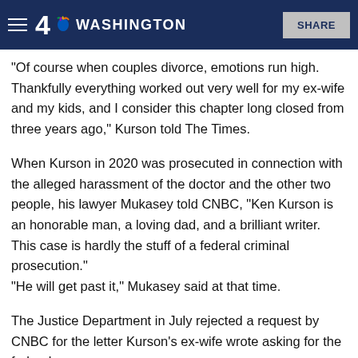4 NBC WASHINGTON | SHARE
"Of course when couples divorce, emotions run high. Thankfully everything worked out very well for my ex-wife and my kids, and I consider this chapter long closed from three years ago," Kurson told The Times.
When Kurson in 2020 was prosecuted in connection with the alleged harassment of the doctor and the other two people, his lawyer Mukasey told CNBC, "Ken Kurson is an honorable man, a loving dad, and a brilliant writer. This case is hardly the stuff of a federal criminal prosecution." "He will get past it," Mukasey said at that time.
The Justice Department in July rejected a request by CNBC for the letter Kurson's ex-wife wrote asking for the federal